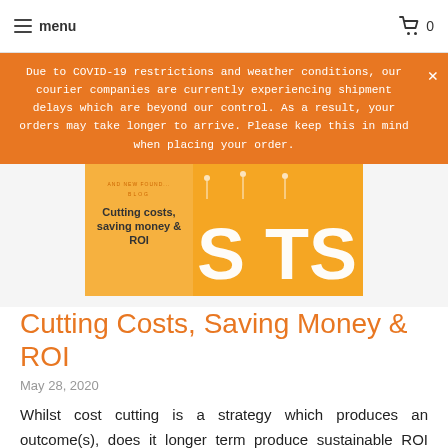menu  0
Due to COVID-19 restrictions and weather conditions, our courier companies are currently experiencing shipment delays which are beyond our control. As a result, your orders may take longer to arrive. Please keep this in mind when placing your order.
[Figure (illustration): Blog header image with orange background showing hanging 3D letters reading 'COSTS' and text overlay: 'BLOG - Cutting costs, saving money & ROI']
Cutting Costs, Saving Money & ROI
May 28, 2020
Whilst cost cutting is a strategy which produces an outcome(s), does it longer term produce sustainable ROI (return